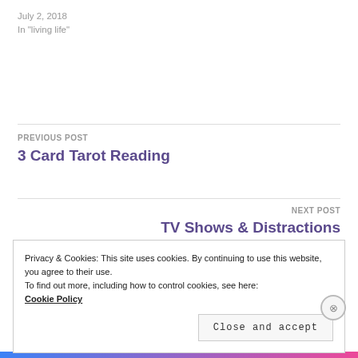July 2, 2018
In "living life"
PREVIOUS POST
3 Card Tarot Reading
NEXT POST
TV Shows & Distractions
Privacy & Cookies: This site uses cookies. By continuing to use this website, you agree to their use.
To find out more, including how to control cookies, see here:
Cookie Policy
Close and accept